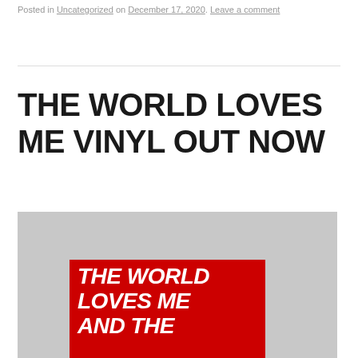Posted in Uncategorized on December 17, 2020. Leave a comment
THE WORLD LOVES ME VINYL OUT NOW
[Figure (photo): Album cover image on grey background showing a red rectangle with white bold italic text reading 'THE WORLD LOVES ME AND THE']